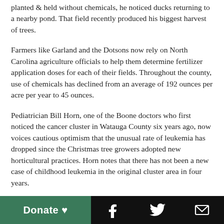planted & held without chemicals, he noticed ducks returning to a nearby pond. That field recently produced his biggest harvest of trees.
Farmers like Garland and the Dotsons now rely on North Carolina agriculture officials to help them determine fertilizer application doses for each of their fields. Throughout the county, use of chemicals has declined from an average of 192 ounces per acre per year to 45 ounces.
Pediatrician Bill Horn, one of the Boone doctors who first noticed the cancer cluster in Watauga County six years ago, now voices cautious optimism that the unusual rate of leukemia has dropped since the Christmas tree growers adopted new horticultural practices. Horn notes that there has not been a new case of childhood leukemia in the original cluster area in four years.
Meanwhile, growers themselves are seeing other benefits from the changes. "It used to be in the nursery business that your neighbor was your competitor," says Jerry Dotson. "Now
Donate ♥   f   🐦   ✉